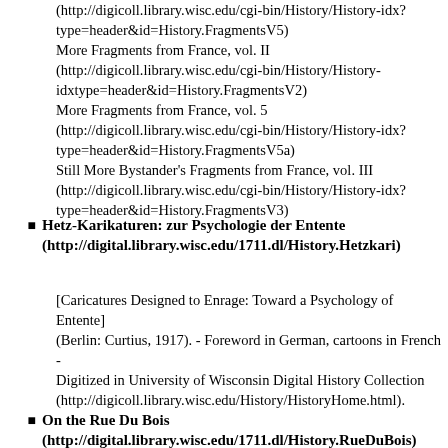(http://digicoll.library.wisc.edu/cgi-bin/History/History-idx?type=header&id=History.FragmentsV5)
More Fragments from France, vol. II (http://digicoll.library.wisc.edu/cgi-bin/History/History-idxtype=header&id=History.FragmentsV2)
More Fragments from France, vol. 5 (http://digicoll.library.wisc.edu/cgi-bin/History/History-idx?type=header&id=History.FragmentsV5a)
Still More Bystander's Fragments from France, vol. III (http://digicoll.library.wisc.edu/cgi-bin/History/History-idx?type=header&id=History.FragmentsV3)
Hetz-Karikaturen: zur Psychologie der Entente (http://digital.library.wisc.edu/1711.dl/History.Hetzkari)
[Caricatures Designed to Enrage: Toward a Psychology of Entente]
(Berlin: Curtius, 1917). - Foreword in German, cartoons in French -
Digitized in University of Wisconsin Digital History Collection (http://digicoll.library.wisc.edu/History/HistoryHome.html).
On the Rue Du Bois (http://digital.library.wisc.edu/1711.dl/History.RueDuBois)